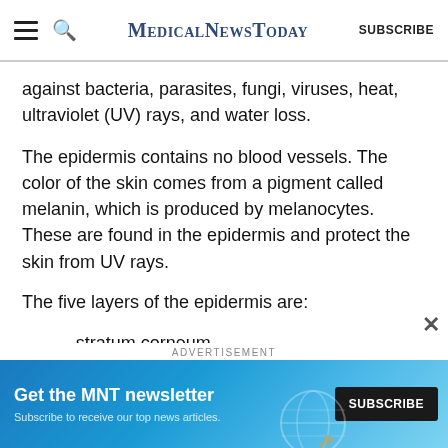MedicalNewsToday | SUBSCRIBE
against bacteria, parasites, fungi, viruses, heat, ultraviolet (UV) rays, and water loss.
The epidermis contains no blood vessels. The color of the skin comes from a pigment called melanin, which is produced by melanocytes. These are found in the epidermis and protect the skin from UV rays.
The five layers of the epidermis are:
stratum corneum
stratum lucidum
stratum granulosum
ADVERTISEMENT
[Figure (other): Advertisement banner: Get the MNT newsletter. Subscribe to receive our top news articles. SUBSCRIBE button.]